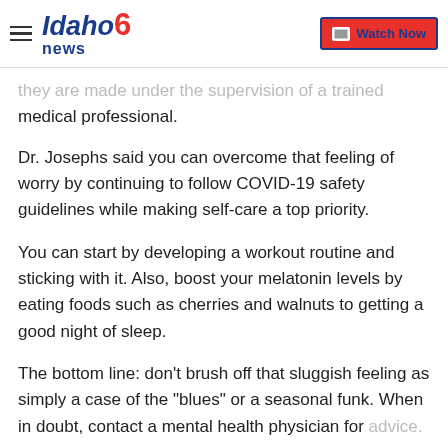Idaho news 6 | Watch Now
they are made under the supervision of a trained medical professional.
Dr. Josephs said you can overcome that feeling of worry by continuing to follow COVID-19 safety guidelines while making self-care a top priority.
You can start by developing a workout routine and sticking with it. Also, boost your melatonin levels by eating foods such as cherries and walnuts to getting a good night of sleep.
The bottom line: don't brush off that sluggish feeling as simply a case of the "blues" or a seasonal funk. When in doubt, contact a mental health physician for advice.